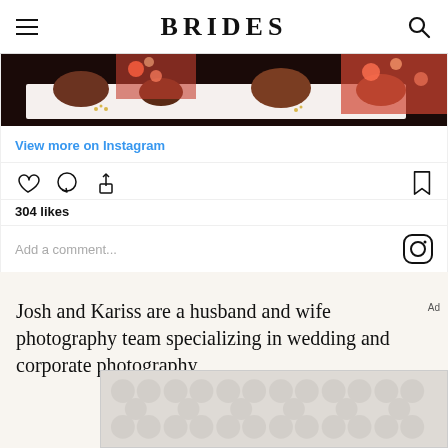BRIDES
[Figure (photo): Instagram embed showing wedding photography strip with women in floral dresses]
View more on Instagram
304 likes
Add a comment...
Josh and Kariss are a husband and wife photography team specializing in wedding and corporate photography
[Figure (other): Advertisement placeholder with decorative circular pattern]